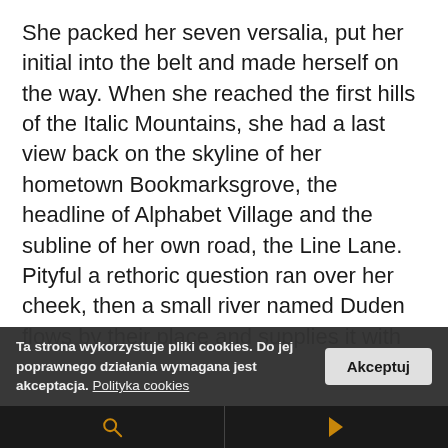She packed her seven versalia, put her initial into the belt and made herself on the way. When she reached the first hills of the Italic Mountains, she had a last view back on the skyline of her hometown Bookmarksgrove, the headline of Alphabet Village and the subline of her own road, the Line Lane. Pityful a rethoric question ran over her cheek, then a small river named Duden flows by their place and supplies it with the necessary regelialia.
But I must explain to you how all this mistaken idea of denouncing pleasure and praising pain was born and I will give you a complete account of the system, and expound the actual teachings of the great explorer of the truth, the master, bu...
Ta strona wykorzystuje pliki cookies. Do jej poprawnego działania wymagana jest akceptacja. Polityka cookies [Akceptuj]